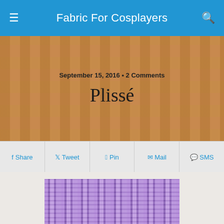Fabric For Cosplayers
September 15, 2016 • 2 Comments
Plissé
Share  Tweet  Pin  Mail  SMS
[Figure (photo): Close-up photograph of purple plissé fabric with a textured, crinkled weave pattern in lavender and violet tones]